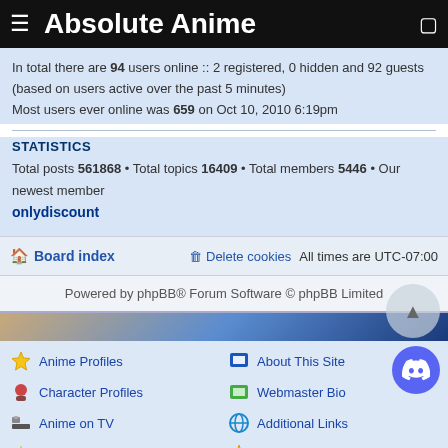Absolute Anime
In total there are 94 users online :: 2 registered, 0 hidden and 92 guests (based on users active over the past 5 minutes)
Most users ever online was 659 on Oct 10, 2010 6:19pm
STATISTICS
Total posts 561868 • Total topics 16409 • Total members 5446 • Our newest member onlydisccount
Board index   Delete cookies   All times are UTC-07:00
Powered by phpBB® Forum Software © phpBB Limited
Anime Profiles
Character Profiles
Anime on TV
Anime Forums
Image Gallery
Latest News
About This Site
Webmaster Bio
Additional Links
My Reviews
HDLoader List
Directory Listing
Google Custom Search  Search